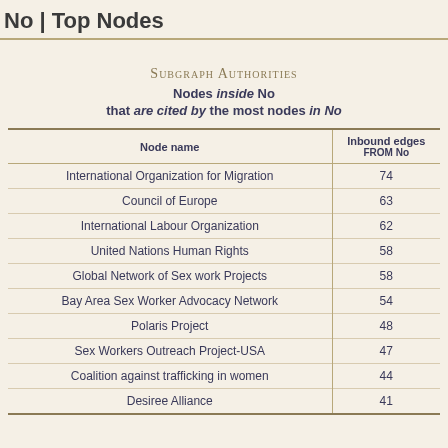No | Top Nodes
Subgraph Authorities
Nodes inside No that are cited by the most nodes in No
| Node name | Inbound edges FROM No |
| --- | --- |
| International Organization for Migration | 74 |
| Council of Europe | 63 |
| International Labour Organization | 62 |
| United Nations Human Rights | 58 |
| Global Network of Sex work Projects | 58 |
| Bay Area Sex Worker Advocacy Network | 54 |
| Polaris Project | 48 |
| Sex Workers Outreach Project-USA | 47 |
| Coalition against trafficking in women | 44 |
| Desiree Alliance | 41 |